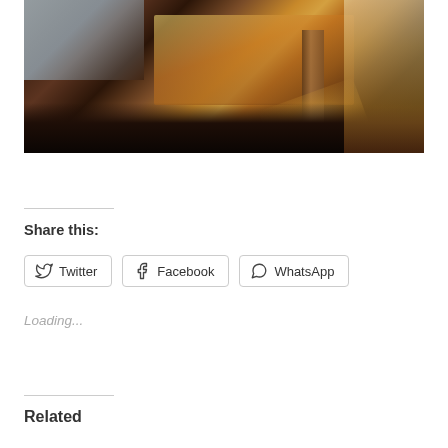[Figure (photo): Interior photo of a restaurant/cafe dining area with dark wooden tables and chairs, large windows letting in natural light, a pillar visible, and warm golden sunlight on the floor]
Share this:
Twitter
Facebook
WhatsApp
Loading...
Related